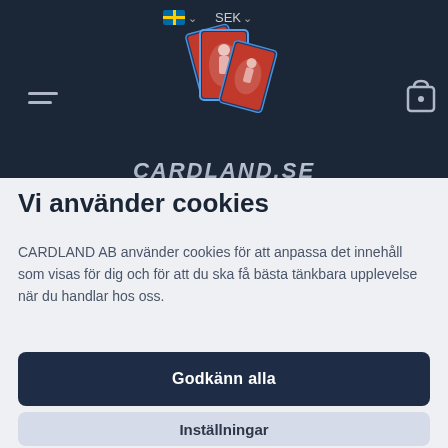[Figure (screenshot): Cardland.se website header with dark navy background, showing three sports trading cards fanned out with athletes, logo text CARDLAND.SE below, hamburger menu icon on left, cart icon on right, language selector (Swedish flag) and SEK currency selector at top center]
Vi använder cookies
CARDLAND AB använder cookies för att anpassa det innehåll som visas för dig och för att du ska få bästa tänkbara upplevelse när du handlar hos oss.
Godkänn alla
Inställningar